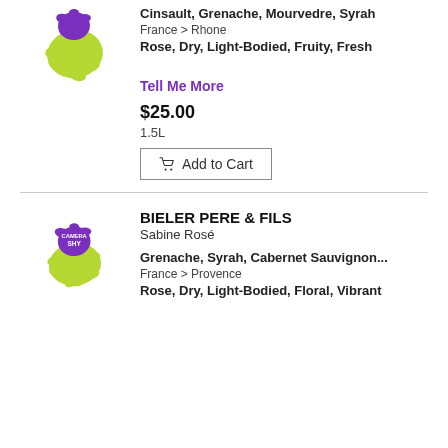[Figure (logo): Green and purple ink splat logo for wine product (Camera Shy / similar brand), top product]
Cinsault, Grenache, Mourvedre, Syrah
France > Rhone
Rose, Dry, Light-Bodied, Fruity, Fresh
Tell Me More
$25.00
1.5L
Add to Cart
[Figure (logo): Camera Shy wine label logo — green and purple ink splat with 'Camera Shy' text]
BIELER PERE & FILS
Sabine Rosé
Grenache, Syrah, Cabernet Sauvignon...
France > Provence
Rose, Dry, Light-Bodied, Floral, Vibrant